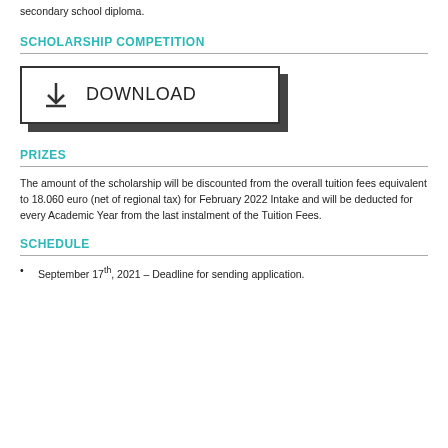secondary school diploma.
SCHOLARSHIP COMPETITION
[Figure (other): Download button with shadow offset effect, showing a download arrow icon and the text DOWNLOAD]
PRIZES
The amount of the scholarship will be discounted from the overall tuition fees equivalent to 18.060 euro (net of regional tax) for February 2022 Intake and will be deducted for every Academic Year from the last instalment of the Tuition Fees.
SCHEDULE
September 17th, 2021 – Deadline for sending application.